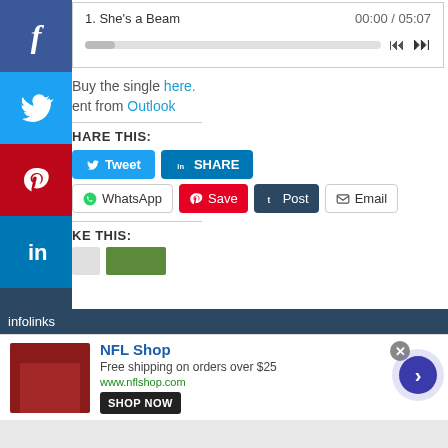[Figure (screenshot): Audio player showing track '1. She's a Beam' with time 00:00 / 05:07 and playback controls including progress bar and skip buttons]
Buy the single here.
Sent from Outlook
SHARE THIS:
[Figure (screenshot): Social share buttons: Tweet (Twitter blue), SHARE (LinkedIn blue), WhatsApp, Save (Pinterest red), Post (Tumblr dark), Email]
LIKE THIS:
[Figure (screenshot): Infolinks advertisement bar at bottom with NFL Shop ad: 'Free shipping on orders over $25', www.nflshop.com, SHOP NOW button, close X button, and forward arrow navigation]